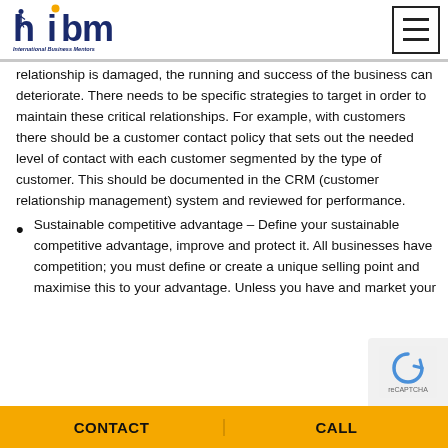International Business Mentors
relationship is damaged, the running and success of the business can deteriorate. There needs to be specific strategies to target in order to maintain these critical relationships. For example, with customers there should be a customer contact policy that sets out the needed level of contact with each customer segmented by the type of customer. This should be documented in the CRM (customer relationship management) system and reviewed for performance.
Sustainable competitive advantage – Define your sustainable competitive advantage, improve and protect it. All businesses have competition; you must define or create a unique selling point and maximise this to your advantage. Unless you have and market your
CONTACT   CALL